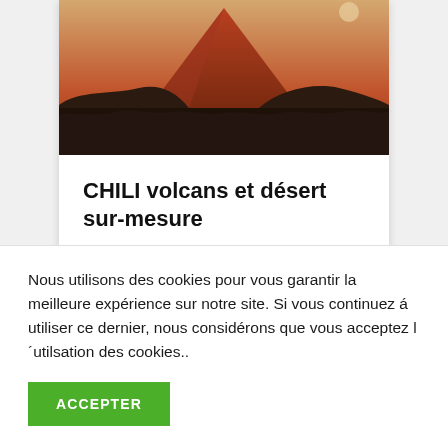[Figure (photo): Aerial/ground view of a red-orange volcanic mountain (likely in Chile/Atacama) at sunset with dark rocky foreground]
CHILI volcans et désert sur-mesure
Entre volcans et paysages du Chili
Nous utilisons des cookies pour vous garantir la meilleure expérience sur notre site. Si vous continuez á utiliser ce dernier, nous considérons que vous acceptez l´utilsation des cookies..
ACCEPTER